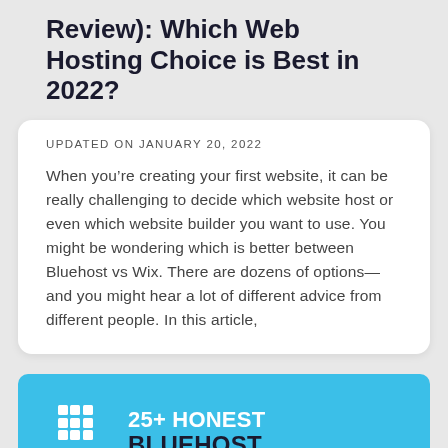Review): Which Web Hosting Choice is Best in 2022?
UPDATED ON JANUARY 20, 2022
When you're creating your first website, it can be really challenging to decide which website host or even which website builder you want to use. You might be wondering which is better between Bluehost vs Wix. There are dozens of options—and you might hear a lot of different advice from different people. In this article,
[Figure (infographic): Bluehost branded banner with grid logo icon and bluehost wordmark on blue background, with text '25+ HONEST BLUEHOST']